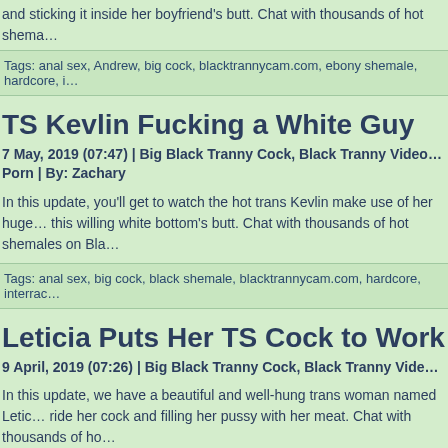and sticking it inside her boyfriend's butt. Chat with thousands of hot shema…
Tags: anal sex, Andrew, big cock, blacktrannycam.com, ebony shemale, hardcore, i…
TS Kevlin Fucking a White Guy
7 May, 2019 (07:47) | Big Black Tranny Cock, Black Tranny Video… Porn | By: Zachary
In this update, you'll get to watch the hot trans Kevlin make use of her huge… this willing white bottom's butt. Chat with thousands of hot shemales on Bla…
Tags: anal sex, big cock, black shemale, blacktrannycam.com, hardcore, interrac…
Leticia Puts Her TS Cock to Work
9 April, 2019 (07:26) | Big Black Tranny Cock, Black Tranny Vide…
In this update, we have a beautiful and well-hung trans woman named Letic… ride her cock and filling her pussy with her meat. Chat with thousands of ho… Tranny Cam
[Figure (logo): ItsLive! webcam network banner with teal background, logo and CHAT WITH ME! button]
MORE CAMS »